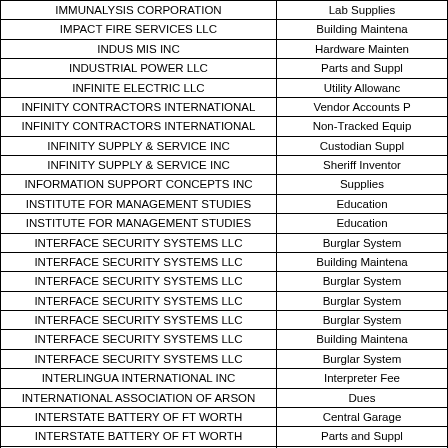| Vendor | Category |
| --- | --- |
| IMMUNALYSIS CORPORATION | Lab Supplies |
| IMPACT FIRE SERVICES LLC | Building Maintena |
| INDUS MIS INC | Hardware Mainten |
| INDUSTRIAL POWER LLC | Parts and Suppl |
| INFINITE ELECTRIC LLC | Utility Allowanc |
| INFINITY CONTRACTORS INTERNATIONAL | Vendor Accounts P |
| INFINITY CONTRACTORS INTERNATIONAL | Non-Tracked Equip |
| INFINITY SUPPLY & SERVICE INC | Custodian Suppl |
| INFINITY SUPPLY & SERVICE INC | Sheriff Inventor |
| INFORMATION SUPPORT CONCEPTS INC | Supplies |
| INSTITUTE FOR MANAGEMENT STUDIES | Education |
| INSTITUTE FOR MANAGEMENT STUDIES | Education |
| INTERFACE SECURITY SYSTEMS LLC | Burglar System |
| INTERFACE SECURITY SYSTEMS LLC | Building Maintena |
| INTERFACE SECURITY SYSTEMS LLC | Burglar System |
| INTERFACE SECURITY SYSTEMS LLC | Burglar System |
| INTERFACE SECURITY SYSTEMS LLC | Burglar System |
| INTERFACE SECURITY SYSTEMS LLC | Building Maintena |
| INTERFACE SECURITY SYSTEMS LLC | Burglar System |
| INTERLINGUA INTERNATIONAL INC | Interpreter Fee |
| INTERNATIONAL ASSOCIATION OF ARSON | Dues |
| INTERSTATE BATTERY OF FT WORTH | Central Garage |
| INTERSTATE BATTERY OF FT WORTH | Parts and Suppl |
| INTERSTATE BATTERY OF FT WORTH | Central Garage |